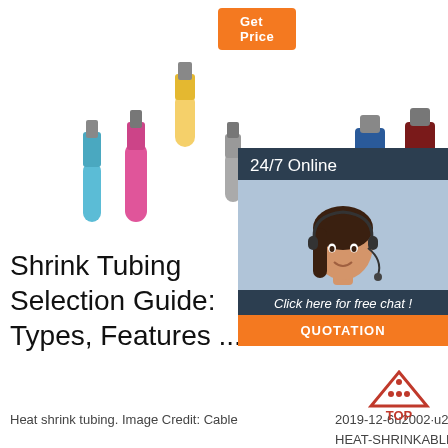[Figure (other): Orange 'Get Price' button at top]
[Figure (photo): Heat shrink tubing connectors in blue, pink, yellow colors on white background]
[Figure (photo): Heavy wall heat shrinkable tubing connectors in blue, red, yellow on white background]
[Figure (logo): HP brand logo in blue and red]
[Figure (photo): 24/7 Online chat widget with woman wearing headset, Click here for free chat, QUOTATION button]
Shrink Tubing Selection Guide: Types, Features ...
Heat shrink tubing. Image Credit: Cable
Heavy Wall Heat Shrinkable Tubing - tnb.ca
2019-12-6u2002·u2002C10 SHRINK-KON HEAT-SHRINKABLE TUBING 3:1
Hea Shri Tub Cata - CA JOINTS
2009-6-16u2002·u2002 SG- Canusa is the complete source
[Figure (other): TOP navigation icon in orange/red]